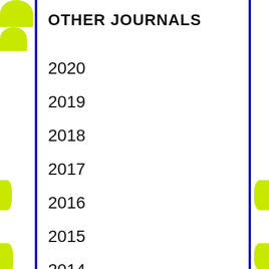OTHER JOURNALS
2020
2019
2018
2017
2016
2015
2014
2013
2012